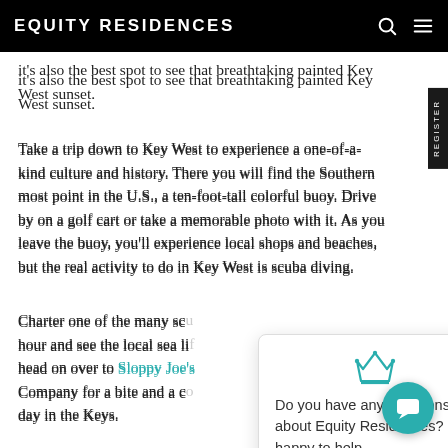EQUITY RESIDENCES
it's also the best spot to see that breathtaking painted Key West sunset.
Take a trip down to Key West to experience a one-of-a-kind culture and history. There you will find the Southern most point in the U.S., a ten-foot-tall colorful buoy. Drive by on a golf cart or take a memorable photo with it. As you leave the buoy, you'll experience local shops and beaches, but the real activity to do in Key West is scuba diving.
Charter one of the many scu... hour and see the local sea li... head on over to Sloppy Joe's... Company for a bite and a co... day in the Keys.
In the morning, when you wake up, walk out of your Maison complex to Midway Café. This local coffee shop is open for breakfast and lunch and provides a great way to start the... less than a two-minute walk from your penthouse. Enjoy breakfast on the deck overlooking the ocean and when you are done, head down to the private beach to enjoy watersports such